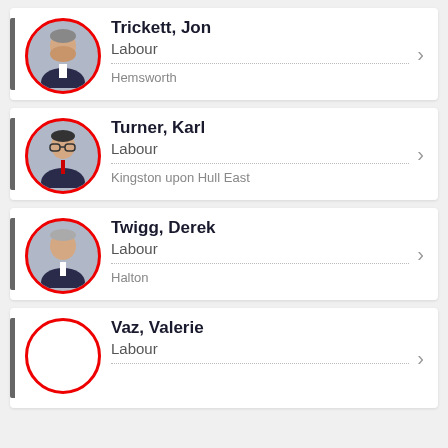Trickett, Jon | Labour | Hemsworth
Turner, Karl | Labour | Kingston upon Hull East
Twigg, Derek | Labour | Halton
Vaz, Valerie | Labour